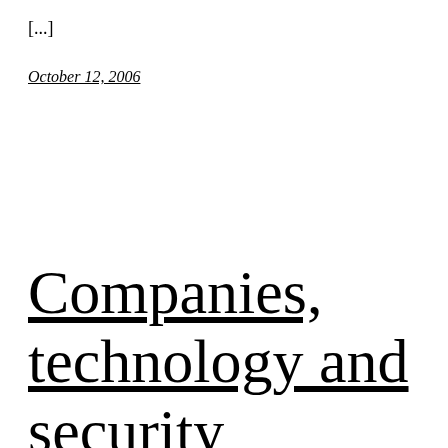[...]
October 12, 2006
Companies, technology and security